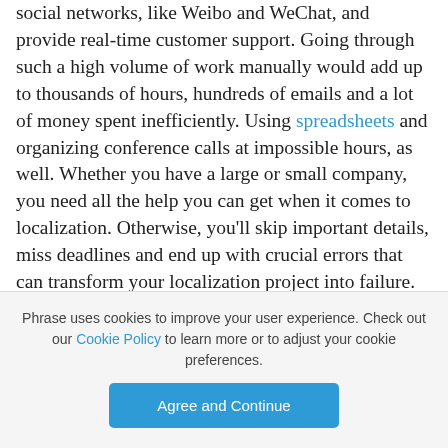impression Notes). They also had to integrate with local social networks, like Weibo and WeChat, and provide real-time customer support. Going through such a high volume of work manually would add up to thousands of hours, hundreds of emails and a lot of money spent inefficiently. Using spreadsheets and organizing conference calls at impossible hours, as well. Whether you have a large or small company, you need all the help you can get when it comes to localization. Otherwise, you'll skip important details, miss deadlines and end up with crucial errors that can transform your localization project into failure.
Phrase uses cookies to improve your user experience. Check out our Cookie Policy to learn more or to adjust your cookie preferences.
Agree and Continue